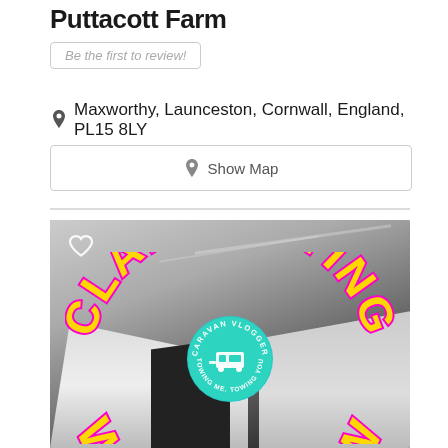Puttacott Farm
Be the first to review!
Maxworthy, Launceston, Cornwall, England, PL15 8LY
Show Map
[Figure (photo): Black and white photo of a caravan, overlaid with colorful 'CLAIM LISTING' and 'WRITE REVIEW' text in yellow/magenta/teal, and a teal circular badge reading 'CARAVAN VLOGGER - TOWING ME, TOWING YOU' with a caravan icon in the center. A white heart outline icon appears in the top left corner.]